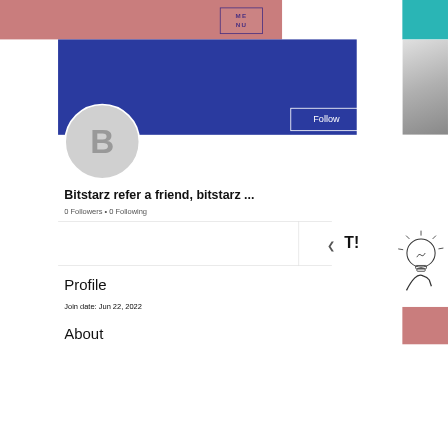[Figure (screenshot): Screenshot of a social media profile page. Top has a pink bar and teal bar. A MENU button with purple border is visible. A blue profile banner with a Follow button and three dots is shown. A circular avatar with letter B is below the banner. Profile name reads 'Bitstarz refer a friend, bitstarz ...' with 0 Followers and 0 Following. Below is a Profile section with Join date: Jun 22, 2022, and an About section. A lightbulb illustration and T! logo appear on the right side.]